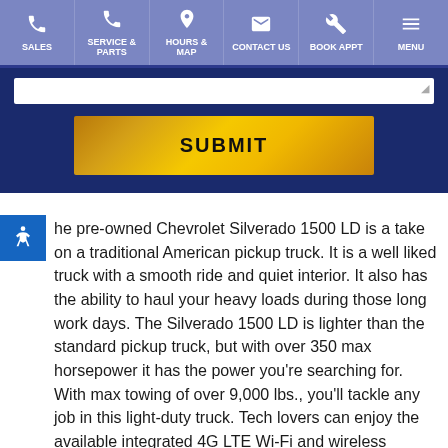SALES | SERVICE & PARTS | HOURS & MAP | CONTACT US | BOOK APPT | MENU
[Figure (screenshot): A yellow gradient SUBMIT button on a dark blue background form area]
The pre-owned Chevrolet Silverado 1500 LD is a take on a traditional American pickup truck. It is a well liked truck with a smooth ride and quiet interior. It also has the ability to haul your heavy loads during those long work days. The Silverado 1500 LD is lighter than the standard pickup truck, but with over 350 max horsepower it has the power you're searching for. With max towing of over 9,000 lbs., you'll tackle any job in this light-duty truck. Tech lovers can enjoy the available integrated 4G LTE Wi-Fi and wireless charging with a built-in charging pad in the center